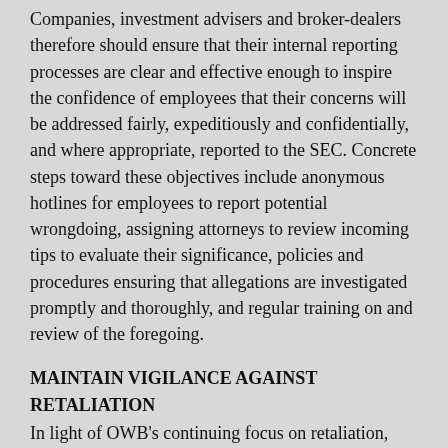Companies, investment advisers and broker-dealers therefore should ensure that their internal reporting processes are clear and effective enough to inspire the confidence of employees that their concerns will be addressed fairly, expeditiously and confidentially, and where appropriate, reported to the SEC. Concrete steps toward these objectives include anonymous hotlines for employees to report potential wrongdoing, assigning attorneys to review incoming tips to evaluate their significance, policies and procedures ensuring that allegations are investigated promptly and thoroughly, and regular training on and review of the foregoing.
MAINTAIN VIGILANCE AGAINST RETALIATION
In light of OWB's continuing focus on retaliation, firms should continue to be especially cautious about taking any action that could be construed as penalizing an employee for reporting to the SEC. Compliance and legal departments should remain alert to this issue through the adoption and regular review of policies and procedures prohibiting